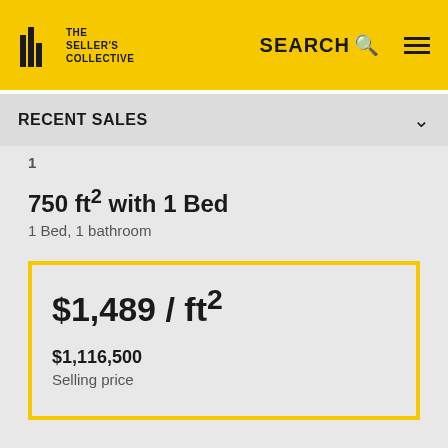THE SELLER'S COLLECTIVE | SEARCH
RECENT SALES
1
750 ft² with 1 Bed
1 Bed, 1 bathroom
$1,489 / ft²
$1,116,500
Selling price